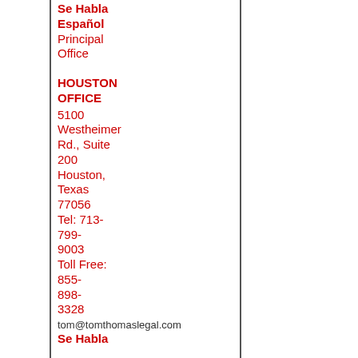Se Habla Español
Principal Office
HOUSTON OFFICE
5100 Westheimer Rd., Suite 200
Houston, Texas 77056
Tel: 713-799-9003
Toll Free: 855-898-3328
tom@tomthomaslegal.com
Se Habla